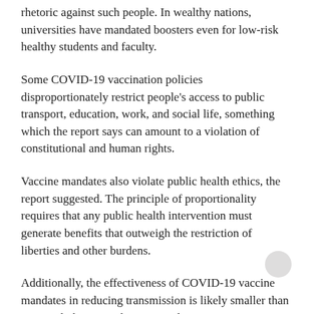rhetoric against such people. In wealthy nations, universities have mandated boosters even for low-risk healthy students and faculty.
Some COVID-19 vaccination policies disproportionately restrict people's access to public transport, education, work, and social life, something which the report says can amount to a violation of constitutional and human rights.
Vaccine mandates also violate public health ethics, the report suggested. The principle of proportionality requires that any public health intervention must generate benefits that outweigh the restriction of liberties and other burdens.
Additionally, the effectiveness of COVID-19 vaccine mandates in reducing transmission is likely smaller than expected, the research report said.
“These issues have been widely discussed in the public arena,